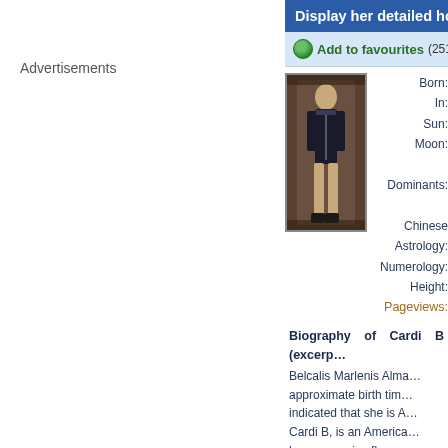Advertisements
Display her detailed horosc...
Add to favourites (251 fa...
[Figure (photo): Photo of Cardi B standing in a dark outfit]
Born:
In:
Sun:
Moon:
Dominants:
Chinese Astrology:
Numerology:
Height:
Pageviews:
Biography of Cardi B (excerpt): Belcalis Marlenis Alma... approximate birth tim... indicated that she is A... Cardi B, is an America... her aggressive flow an...